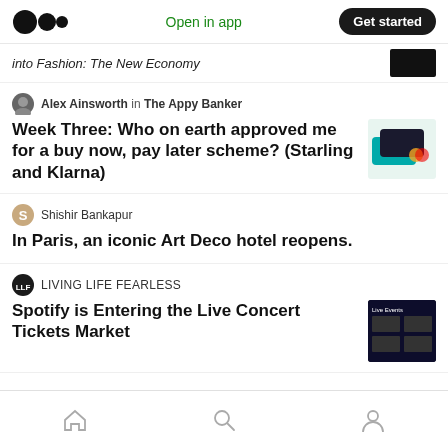Medium logo | Open in app | Get started
into Fashion: The New Economy
Alex Ainsworth in The Appy Banker
Week Three: Who on earth approved me for a buy now, pay later scheme? (Starling and Klarna)
Shishir Bankapur
In Paris, an iconic Art Deco hotel reopens.
LIVING LIFE FEARLESS
Spotify is Entering the Live Concert Tickets Market
Home | Search | Profile